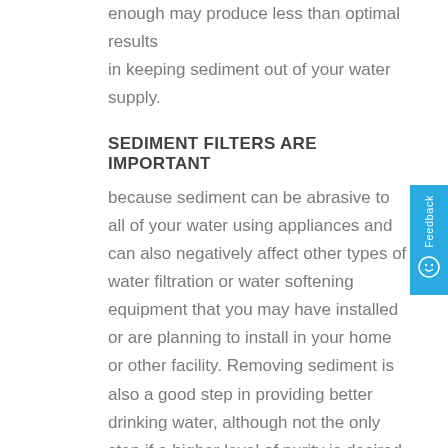enough may produce less than optimal results in keeping sediment out of your water supply.
SEDIMENT FILTERS ARE IMPORTANT
because sediment can be abrasive to all of your water using appliances and can also negatively affect other types of water filtration or water softening equipment that you may have installed or are planning to install in your home or other facility. Removing sediment is also a good step in providing better drinking water, although not the only step if a higher level of purity is desired. For more on high quality drinking water, see the link at http://reverse-osmosis/.